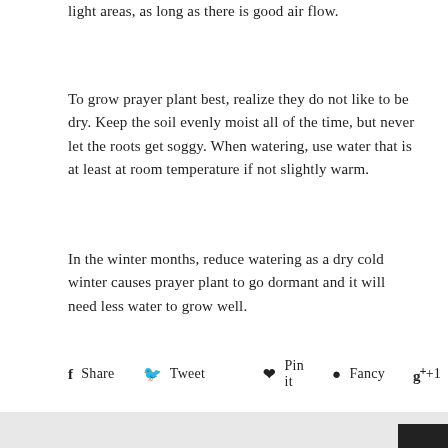light areas, as long as there is good air flow.
To grow prayer plant best, realize they do not like to be dry. Keep the soil evenly moist all of the time, but never let the roots get soggy. When watering, use water that is at least at room temperature if not slightly warm.
In the winter months, reduce watering as a dry cold winter causes prayer plant to go dormant and it will need less water to grow well.
f Share   Tweet   Pin it   Fancy   g+ +1